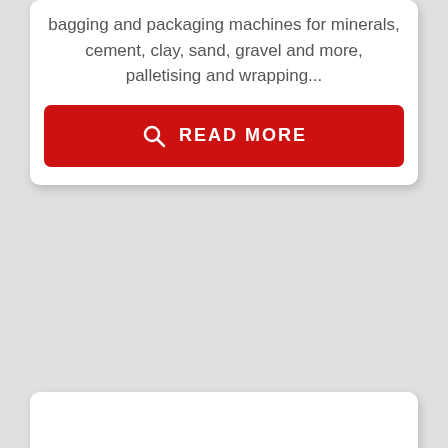bagging and packaging machines for minerals, cement, clay, sand, gravel and more, palletising and wrapping...
[Figure (other): Red button with search icon and 'READ MORE' text in white capital letters]
[Figure (other): Empty white card placeholder below the first card]